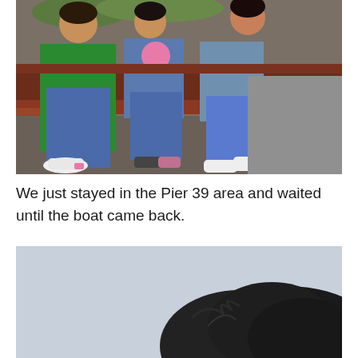[Figure (photo): Three people sitting on a wooden bench/ledge outdoors. Person on left wearing green long-sleeve shirt and jeans. Middle person wearing denim jacket holding something pink. Person on right in jeans and white sneakers. Ground is pavement/dirt area.]
We just stayed in the Pier 39 area and waited until the boat came back.
[Figure (photo): Partial view of a dark-furred animal (likely a sea lion or similar) against a light blue/grey sky background.]